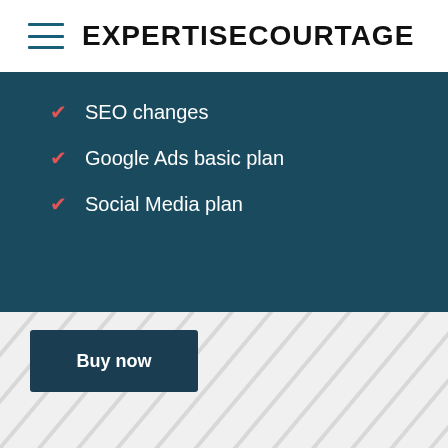EXPERTISECOURTAGE
SEO changes
Google Ads basic plan
Social Media plan
Buy now